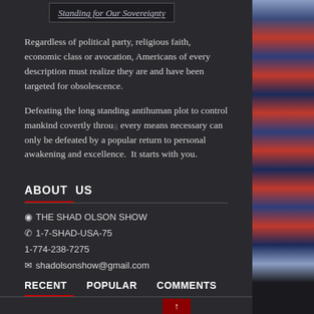Standing for Our Sovereignty
Regardless of political party, religious faith, economic class or avocation, Americans of every description must realize they are and have been targeted for obsolescence.
Defeating the long standing antihuman plot to control mankind covertly through every means necessary can only be defeated by a popular return to personal awakening and excellence.  It starts with you.
ABOUT US
THE SHAD OLSON SHOW
1-7-SHAD-USA-75
1-774-238-7275
shadolsonshow@gmail.com
RECENT  POPULAR  COMMENTS